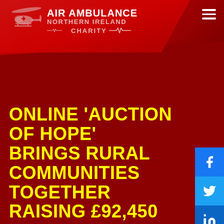[Figure (logo): Air Ambulance Northern Ireland Charity logo with helicopter silhouette on red banner header]
ONLINE 'AUCTION OF HOPE' BRINGS RURAL COMMUNITIES TOGETHER RAISING £92,450 FOR LOCAL CHARITIES